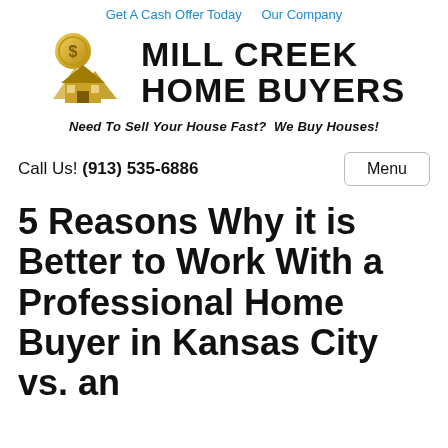Get A Cash Offer Today   Our Company
[Figure (logo): Mill Creek Home Buyers logo with gold house and dollar coin icon, bold black text reading MILL CREEK HOME BUYERS, tagline: Need To Sell Your House Fast? We Buy Houses!]
Call Us! (913) 535-6886
5 Reasons Why it is Better to Work With a Professional Home Buyer in Kansas City vs. an